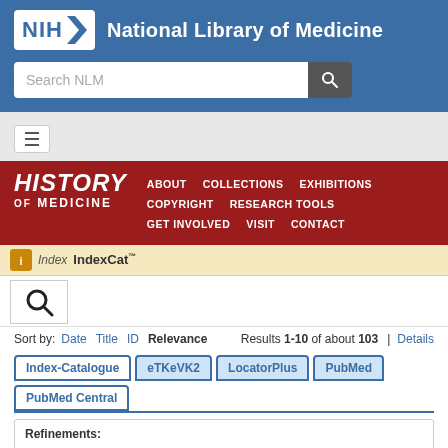[Figure (logo): NIH National Library of Medicine logo and header with blue background]
[Figure (screenshot): Search NLM input bar with magnifying glass button]
[Figure (screenshot): Hamburger menu toggle button on grey background]
[Figure (screenshot): History of Medicine red banner with navigation links: ABOUT, COLLECTIONS, EXHIBITIONS, COPYRIGHT, RESEARCH TOOLS, GET INVOLVED, VISIT, CONTACT]
[Figure (screenshot): IndexCat branded bar with icon and search magnifying glass]
Sort by: Date  Title  ID  Relevance    Results 1-10 of about 103  | Details
Index-Catalogue  eTKeVK2  LocatorPlus  PubMed  PubMed Central
Refinements: Index-Catalogue, Library of the Surgeon-General's Office 1880-1961: Series 4, 1936- > Volume 011 x > Page 772 x